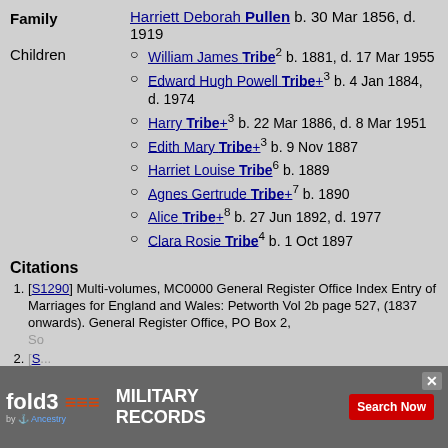Family   Harriett Deborah Pullen b. 30 Mar 1856, d. 1919
Children
William James Tribe² b. 1881, d. 17 Mar 1955
Edward Hugh Powell Tribe+³ b. 4 Jan 1884, d. 1974
Harry Tribe+³ b. 22 Mar 1886, d. 8 Mar 1951
Edith Mary Tribe+³ b. 9 Nov 1887
Harriet Louise Tribe⁶ b. 1889
Agnes Gertrude Tribe+⁷ b. 1890
Alice Tribe+⁸ b. 27 Jun 1892, d. 1977
Clara Rosie Tribe⁴ b. 1 Oct 1897
Citations
[S1290] Multi-volumes, MC0000 General Register Office Index Entry of Marriages for England and Wales: Petworth Vol 2b page 527, (1837 onwards). General Register Office, PO Box 2, So...
[S...] ...nsus En... ...nd
[Figure (advertisement): Fold3 by Ancestry advertisement banner for Military Records with Search Now button and close X button]